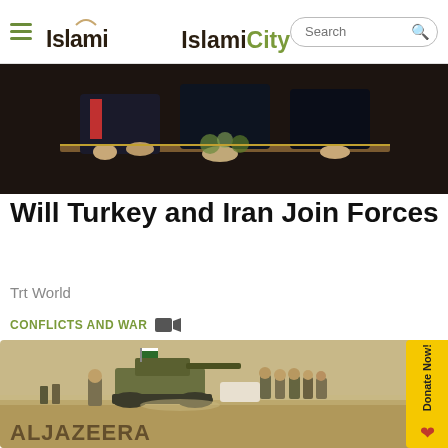IslamiCity — Search bar
[Figure (photo): Two men in suits seated at a formal table, diplomacy meeting scene]
Will Turkey and Iran Join Forces
Trt World
CONFLICTS AND WAR
[Figure (photo): Military scene with a tank and a group of soldiers in a desert landscape, Al Jazeera watermark at bottom left]